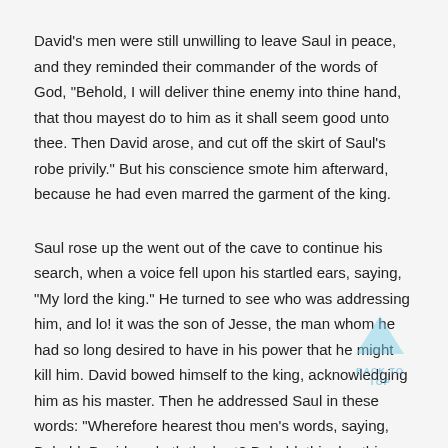David's men were still unwilling to leave Saul in peace, and they reminded their commander of the words of God, "Behold, I will deliver thine enemy into thine hand, that thou mayest do to him as it shall seem good unto thee. Then David arose, and cut off the skirt of Saul's robe privily." But his conscience smote him afterward, because he had even marred the garment of the king.
Saul rose up the went out of the cave to continue his search, when a voice fell upon his startled ears, saying, "My lord the king." He turned to see who was addressing him, and lo! it was the son of Jesse, the man whom he had so long desired to have in his power that he might kill him. David bowed himself to the king, acknowledging him as his master. Then he addressed Saul in these words: "Wherefore hearest thou men's words, saying, Behold, David seeketh thy hurt? Behold, this day thine eyes have seen how that the Lord hath delivered thee today into mine hand in the cave; and some bade me kill thee; but mine eye spared
[Figure (other): A light blue upward-pointing arrow icon with 'BACK TO TOP' text label, used as a navigation button overlay on the page.]